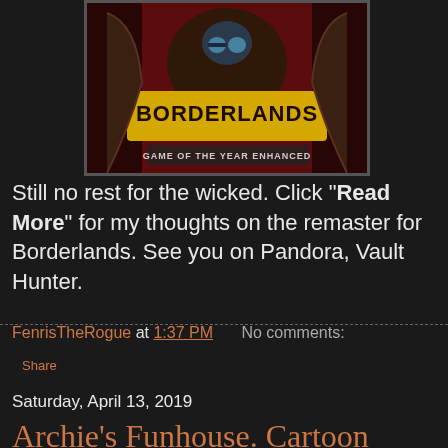[Figure (illustration): Borderlands: Game of the Year Enhanced game cover art showing characters with yellow stylized logo text and red background]
Still no rest for the wicked. Click "Read More" for my thoughts on the remaster for Borderlands. See you on Pandora, Vault Hunter.
FenrisTheRogue at 1:37 PM    No comments:
Share
Saturday, April 13, 2019
Archie's Funhouse. Cartoon Review.
[Figure (illustration): Tan/beige colored image, partially visible, appears to be a cartoon or book cover]